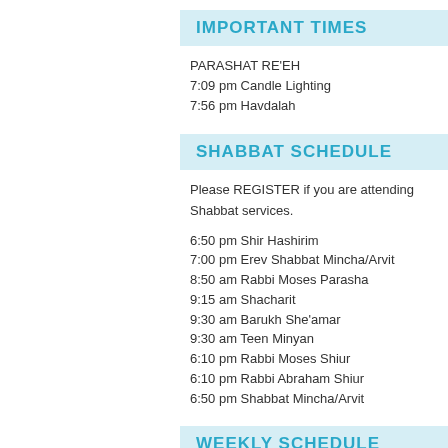IMPORTANT TIMES
PARASHAT RE'EH
7:09 pm Candle Lighting
7:56 pm Havdalah
SHABBAT SCHEDULE
Please REGISTER if you are attending Shabbat services.
6:50 pm Shir Hashirim
7:00 pm Erev Shabbat Mincha/Arvit
8:50 am Rabbi Moses Parasha
9:15 am Shacharit
9:30 am Barukh She'amar
9:30 am Teen Minyan
6:10 pm Rabbi Moses Shiur
6:10 pm Rabbi Abraham Shiur
6:50 pm Shabbat Mincha/Arvit
WEEKLY SCHEDULE